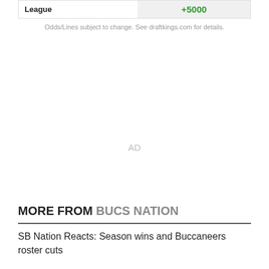|  |  |
| --- | --- |
| League | +5000 |
Odds/Lines subject to change. See draftkings.com for details.
[Figure (other): AD placeholder text in gray]
MORE FROM BUCS NATION
SB Nation Reacts: Season wins and Buccaneers roster cuts